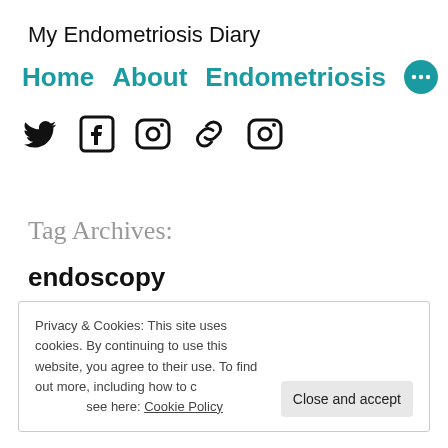My Endometriosis Diary
Home   About   Endometriosis   ···
[Figure (illustration): Social media icons: Twitter (bird), Facebook (f), Instagram (camera), Link/chain icon, Instagram (camera)]
Tag Archives:
endoscopy
Privacy & Cookies: This site uses cookies. By continuing to use this website, you agree to their use. To find out more, including how to control cookies, see here: Cookie Policy